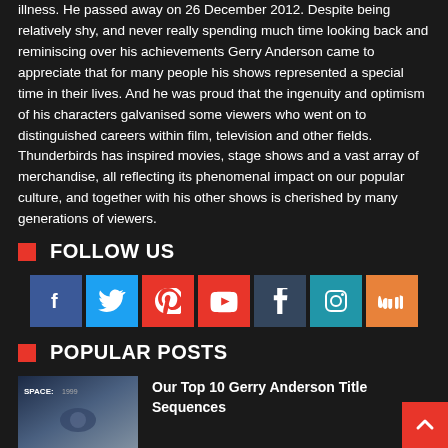illness. He passed away on 26 December 2012. Despite being relatively shy, and never really spending much time looking back and reminiscing over his achievements Gerry Anderson came to appreciate that for many people his shows represented a special time in their lives. And he was proud that the ingenuity and optimism of his characters galvanised some viewers who went on to distinguished careers within film, television and other fields. Thunderbirds has inspired movies, stage shows and a vast array of merchandise, all reflecting its phenomenal impact on our popular culture, and together with his other shows is cherished by many generations of viewers.
FOLLOW US
[Figure (infographic): Social media icons row: Facebook (blue), Twitter (light blue), Pinterest (red), YouTube (red), Tumblr (dark blue-grey), Instagram (teal), SoundCloud (orange)]
POPULAR POSTS
[Figure (photo): Thumbnail image for a Space: 1999 related article, showing a still from the show]
Our Top 10 Gerry Anderson Title Sequences